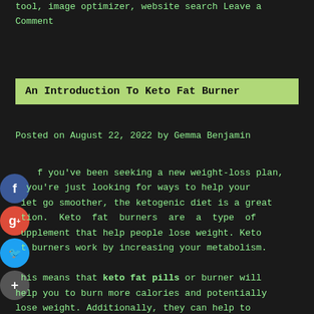tool, image optimizer, website search Leave a Comment
An Introduction To Keto Fat Burner
Posted on August 22, 2022 by Gemma Benjamin
If you've been seeking a new weight-loss plan, you're just looking for ways to help your diet go smoother, the ketogenic diet is a great option. Keto fat burners are a type of supplement that help people lose weight. Keto fat burners work by increasing your metabolism. This means that keto fat pills or burner will help you to burn more calories and potentially lose weight. Additionally, they can help to boost your energy levels, helping you to stay
[Figure (infographic): Social media sharing icons: Facebook (blue circle with f), Google+ (red circle with g+), Twitter (blue circle with bird), and a plus/share button (dark circle with +)]